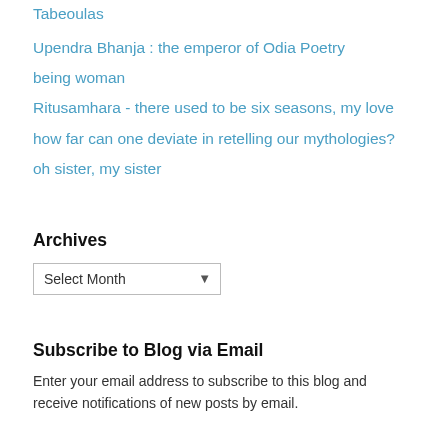Tabeoulas
Upendra Bhanja : the emperor of Odia Poetry
being woman
Ritusamhara - there used to be six seasons, my love
how far can one deviate in retelling our mythologies?
oh sister, my sister
Archives
Select Month
Subscribe to Blog via Email
Enter your email address to subscribe to this blog and receive notifications of new posts by email.